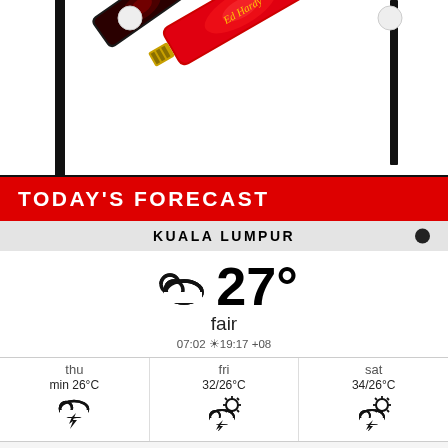[Figure (photo): Ed Hardy branded USB flash drives on white background — two decorative drives with red floral tattoo-style design, one showing USB connector end]
TODAY'S FORECAST
KUALA LUMPUR
[Figure (infographic): Weather widget showing partly cloudy icon and 27° temperature, condition 'fair', sunrise 07:02 sunset 19:17 timezone +08]
fair
07:02 ☼ 19:17 +08
| thu | fri | sat |
| --- | --- | --- |
| min 26°C | 32/26°C | 34/26°C |
| ⛈ | ⛈☀ | ⛈☀ |
Weather forecast Kuala Lumpur, Malaysia ▶